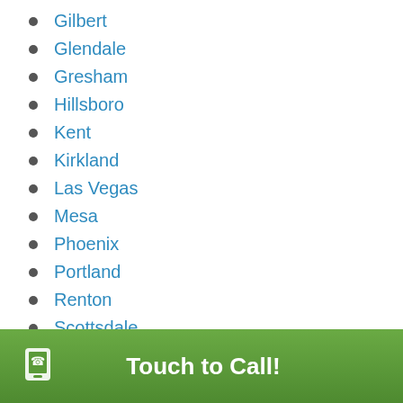Gilbert
Glendale
Gresham
Hillsboro
Kent
Kirkland
Las Vegas
Mesa
Phoenix
Portland
Renton
Scottsdale
Seattle
Spokane
Tacoma
Tucson
Vancouver
Touch to Call!